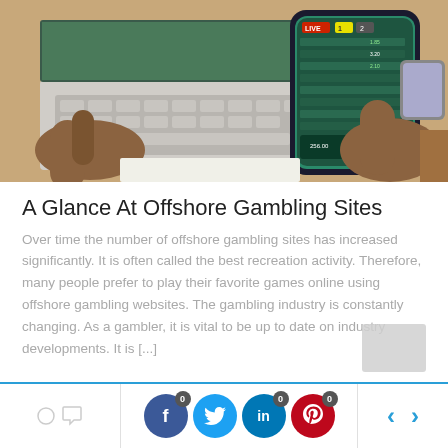[Figure (photo): Person holding a smartphone showing a live sports betting app interface, with a laptop keyboard visible in the background on a wooden table.]
A Glance At Offshore Gambling Sites
Over time the number of offshore gambling sites has increased significantly. It is often called the best recreation activity. Therefore, many people prefer to play their favorite games online using offshore gambling websites. The gambling industry is constantly changing. As a gambler, it is vital to be up to date on industry developments. It is [...]
0 comments | Share on Facebook 0 | Share on Twitter 0 | Share on LinkedIn 0 | Share on Pinterest 0 | navigation arrows